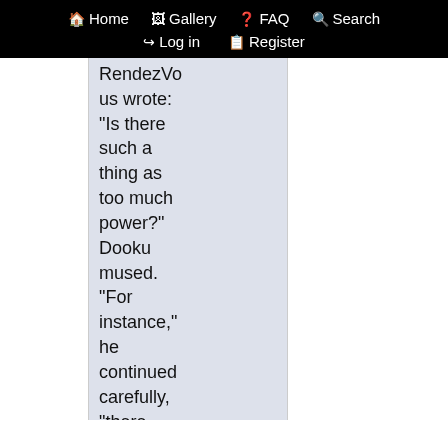Home  Gallery  FAQ  Search  Log in  Register
RendezVous wrote: "Is there such a thing as too much power?" Dooku mused. "For instance," he continued carefully, "there was a day when your power was